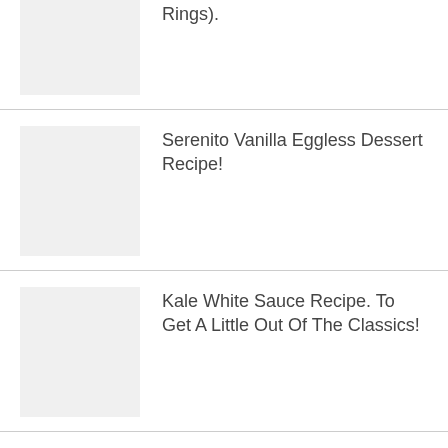Rings).
[Figure (photo): Thumbnail placeholder for recipe image]
Serenito Vanilla Eggless Dessert Recipe!
[Figure (photo): Thumbnail placeholder for recipe image]
Kale White Sauce Recipe. To Get A Little Out Of The Classics!
[Figure (photo): Thumbnail placeholder for recipe image]
Beef Burguers Recipe. Always Homemade is Much Better!
[Figure (photo): Thumbnail placeholder for recipe image]